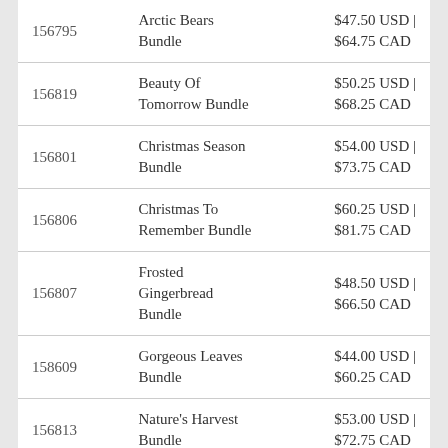| ID | Product | Price |
| --- | --- | --- |
| 156795 | Arctic Bears Bundle | $47.50 USD | $64.75 CAD |
| 156819 | Beauty Of Tomorrow Bundle | $50.25 USD | $68.25 CAD |
| 156801 | Christmas Season Bundle | $54.00 USD | $73.75 CAD |
| 156806 | Christmas To Remember Bundle | $60.25 USD | $81.75 CAD |
| 156807 | Frosted Gingerbread Bundle | $48.50 USD | $66.50 CAD |
| 158609 | Gorgeous Leaves Bundle | $44.00 USD | $60.25 CAD |
| 156813 | Nature's Harvest Bundle | $53.00 USD | $72.75 CAD |
| 156816 | Peaceful Cabin Bundle | $54.00 USD | $72.75 CAD |
| 156391 | Peaceful Deer Bundle | $36.00 USD | $48.50 CAD |